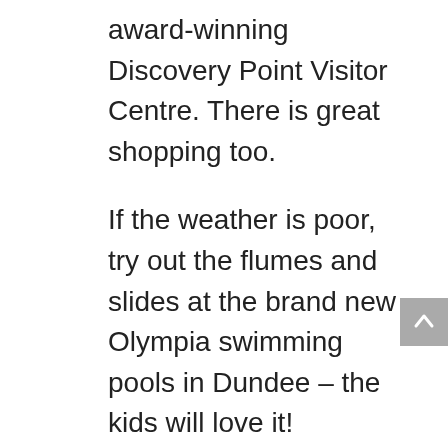award-winning Discovery Point Visitor Centre. There is great shopping too.
If the weather is poor, try out the flumes and slides at the brand new Olympia swimming pools in Dundee – the kids will love it!
In the summer why not go Puffin spotting on a boat trip to the beautiful Isle of May? It's great fun.
Go for a potter in nearby Newport-on-Tay. A quaint village with a small high street. There are some nice shops, an art gallery, several cafes and fab fish and chips at the Silvery Tay.